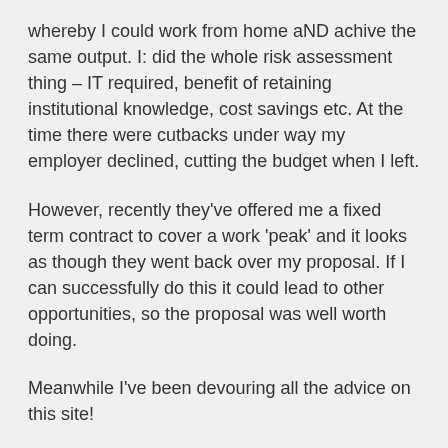whereby I could work from home aND achive the same output. I: did the whole risk assessment thing – IT required, benefit of retaining institutional knowledge, cost savings etc. At the time there were cutbacks under way my employer declined, cutting the budget when I left.
However, recently they've offered me a fixed term contract to cover a work 'peak' and it looks as though they went back over my proposal. If I can successfully do this it could lead to other opportunities, so the proposal was well worth doing.
Meanwhile I've been devouring all the advice on this site!